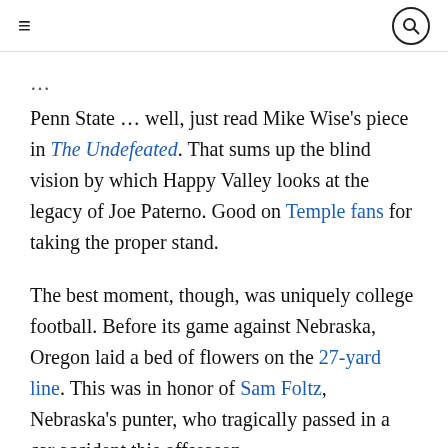≡  [search icon]
Penn State … well, just read Mike Wise's piece in The Undefeated. That sums up the blind vision by which Happy Valley looks at the legacy of Joe Paterno. Good on Temple fans for taking the proper stand.
The best moment, though, was uniquely college football. Before its game against Nebraska, Oregon laid a bed of flowers on the 27-yard line. This was in honor of Sam Foltz, Nebraska's punter, who tragically passed in a car accident this offseason.